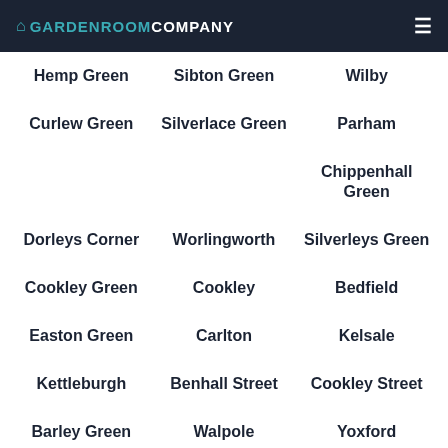Garden Room Company
Hemp Green
Sibton Green
Wilby
Curlew Green
Silverlace Green
Parham
Chippenhall Green
Dorleys Corner
Worlingworth
Silverleys Green
Cookley Green
Cookley
Bedfield
Easton Green
Carlton
Kelsale
Kettleburgh
Benhall Street
Cookley Street
Barley Green
Walpole
Yoxford